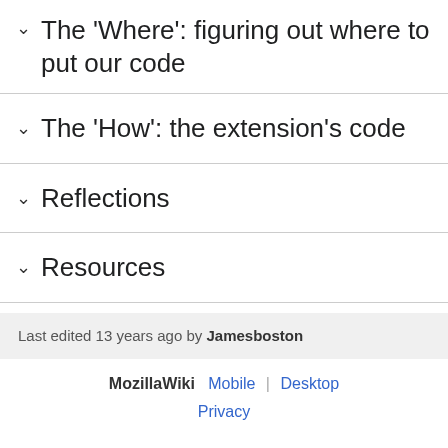The 'Where': figuring out where to put our code
The 'How': the extension's code
Reflections
Resources
Last edited 13 years ago by Jamesboston
MozillaWiki  Mobile | Desktop  Privacy